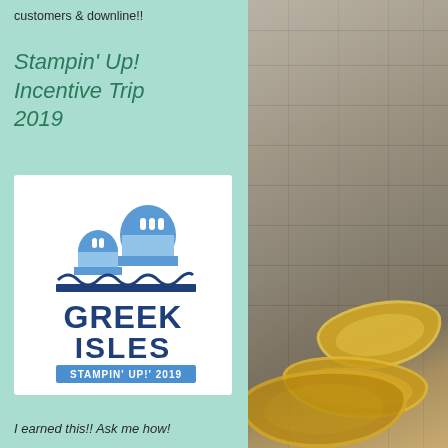customers & downline!!
Stampin' Up! Incentive Trip 2019
[Figure (logo): Greek Isles Stampin' Up! 2019 incentive trip logo with blue domed buildings and wave decoration]
I earned this!! Ask me how!
[Figure (photo): Wooden plank background with yellow butterfly or bow decorative items]